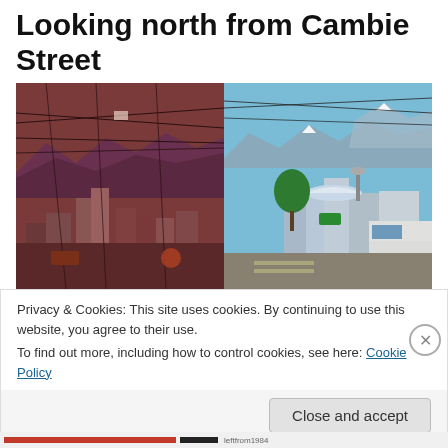Looking north from Cambie Street
[Figure (photo): Side-by-side comparison photos looking north from Cambie Street: left photo shows an older historical view with reddish/orange tones featuring overhead wires, mountains in background, and older urban buildings; right photo shows a modern view with blue sky, mountains, the Vancouver cityscape with BC Place dome, a green tree, and a white truck in the foreground.]
Privacy & Cookies: This site uses cookies. By continuing to use this website, you agree to their use.
To find out more, including how to control cookies, see here: Cookie Policy